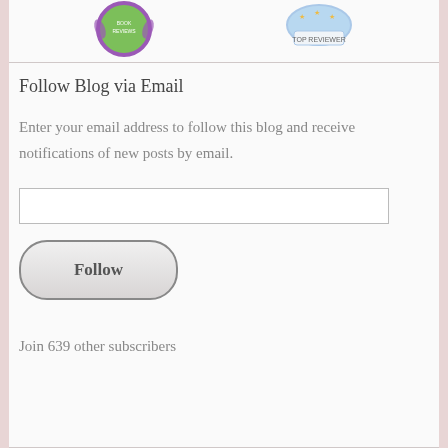[Figure (illustration): Two badge icons at the top: a purple/green circular 'Reviews' badge on the left, and a blue 'Top Reviewer' badge on the right]
Follow Blog via Email
Enter your email address to follow this blog and receive notifications of new posts by email.
Join 639 other subscribers